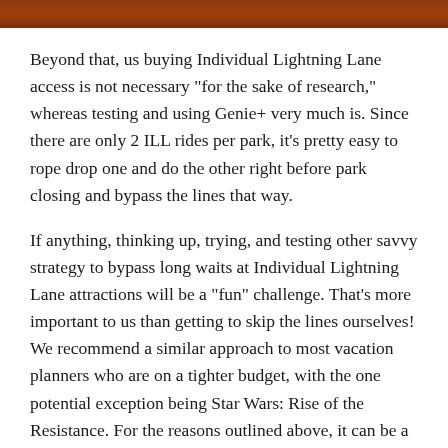[Figure (photo): Decorative header image strip, dark reddish-brown tones, appears to be a themed area at night]
Beyond that, us buying Individual Lightning Lane access is not necessary “for the sake of research,” whereas testing and using Genie+ very much is. Since there are only 2 ILL rides per park, it’s pretty easy to rope drop one and do the other right before park closing and bypass the lines that way.
If anything, thinking up, trying, and testing other savvy strategy to bypass long waits at Individual Lightning Lane attractions will be a “fun” challenge. That’s more important to us than getting to skip the lines ourselves! We recommend a similar approach to most vacation planners who are on a tighter budget, with the one potential exception being Star Wars: Rise of the Resistance. For the reasons outlined above, it can be a good use of money that minimizes headaches and saves a ton of time–but even then, doing it during Early Entry or at the end of the night